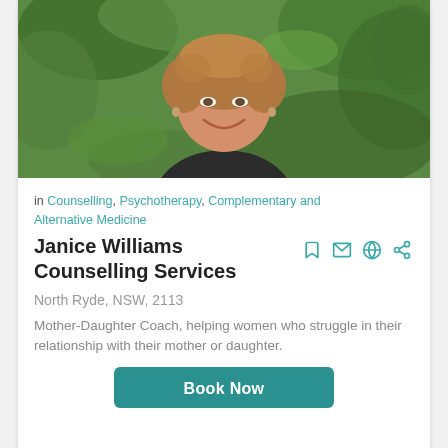[Figure (photo): Portrait photo of Janice Williams, a woman with short light brown hair, smiling, in front of green foliage background]
in Counselling, Psychotherapy, Complementary and Alternative Medicine
Janice Williams Counselling Services
North Ryde, NSW, 2113
Mother-Daughter Coach, helping women who struggle in their relationship with their mother or daughter.
Book Now